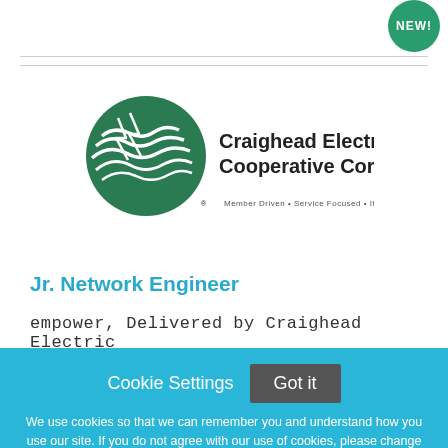[Figure (logo): Craighead Electric Cooperative Corporation logo with green circle, white wave/lightning lines, and company name text]
Jr. Network Engineer
empower, Delivered by Craighead Electric
Cookie Settings  Got it
We use cookies so that we can remember you and understand how you use our site. If you do not agree with our use of cookies, please change the current settings found in our Cookie Policy. Otherwise, you agree to the use of the cookies as they are currently set.